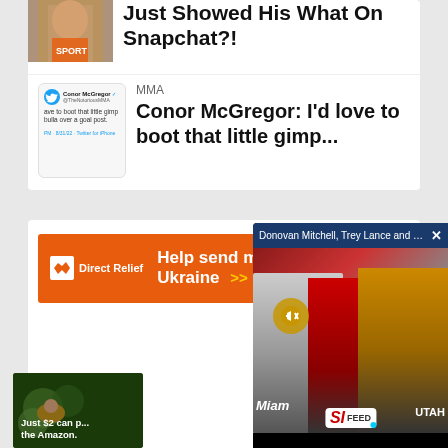[Figure (photo): Partial image of person at top of article card]
Just Showed His What On Snapchat?!
[Figure (screenshot): Tweet screenshot from Conor McGregor @TheNotoriousMMA: 'love to boot that little gimp bulla over a goal post.' PM - 8/31/22 Twitter for iPhone]
MMA
Conor McGregor: I'd love to boot that little gimp...
[Figure (photo): Orange Direct Relief advertisement banner: Help send medical aid to Ukraine >>]
Donovan Mitchell, Trey Lance and Jake P...
[Figure (screenshot): SI Feed video popup showing Donovan Mitchell, Trey Lance and Jake Paul with mute button overlay]
[Figure (photo): Bottom advertisement: Just $2 can p... the Amazon.]